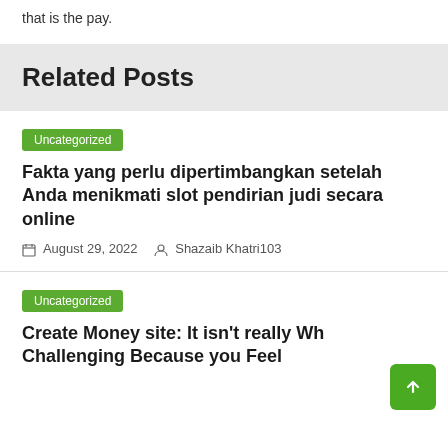that is the pay.
Related Posts
Uncategorized
Fakta yang perlu dipertimbangkan setelah Anda menikmati slot pendirian judi secara online
August 29, 2022   Shazaib Khatri103
Uncategorized
Create Money site: It isn't really Wh Challenging Because you Feel